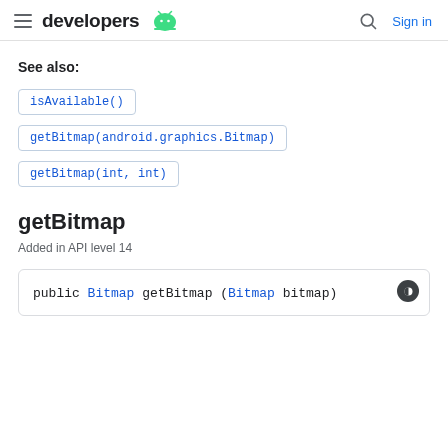developers (android logo) | Sign in
See also:
isAvailable()
getBitmap(android.graphics.Bitmap)
getBitmap(int, int)
getBitmap
Added in API level 14
public Bitmap getBitmap (Bitmap bitmap)